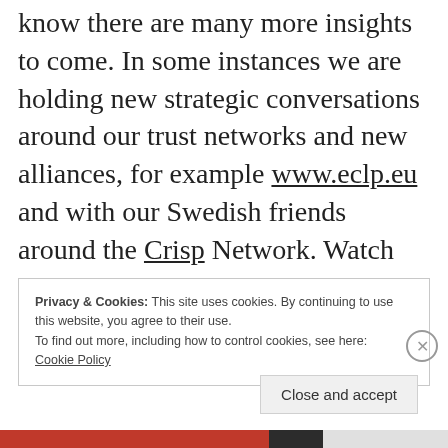know there are many more insights to come. In some instances we are holding new strategic conversations around our trust networks and new alliances, for example www.eclp.eu and with our Swedish friends around the Crisp Network. Watch this space!  Comments welcome.
Privacy & Cookies: This site uses cookies. By continuing to use this website, you agree to their use.
To find out more, including how to control cookies, see here:
Cookie Policy
Close and accept